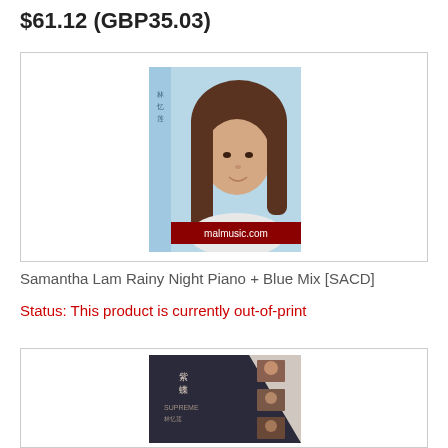$61.12 (GBP35.03)
[Figure (photo): Album cover for Samantha Lam Rainy Night Piano + Blue Mix [SACD], showing a woman with dark hair, with malmusic.com watermark]
Samantha Lam Rainy Night Piano + Blue Mix [SACD]
Status: This product is currently out-of-print
[Figure (photo): Album cover for a second product, showing a dark themed album cover with several small photo thumbnails]